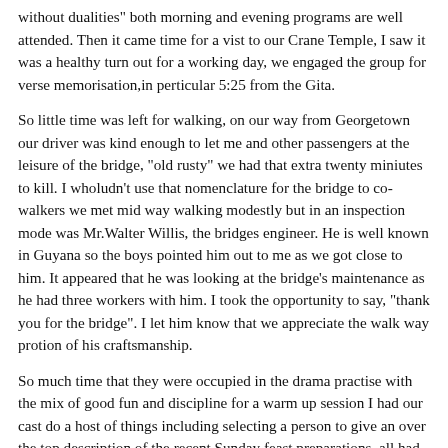without dualities" both morning and evening programs are well attended. Then it came time for a vist to our Crane Temple, I saw it was a healthy turn out for a working day, we engaged the group for verse memorisation,in perticular 5:25 from the Gita.
So little time was left for walking, on our way from Georgetown our driver was kind enough to let me and other passengers at the leisure of the bridge, "old rusty" we had that extra twenty miniutes to kill. I wholudn't use that nomenclature for the bridge to co-walkers we met mid way walking modestly but in an inspection mode was Mr.Walter Willis, the bridges engineer. He is well known in Guyana so the boys pointed him out to me as we got close to him. It appeared that he was looking at the bridge's maintenance as he had three workers with him. I took the opportunity to say, "thank you for the bridge". I let him know that we appreciate the walk way protion of his craftsmanship.
So much time that they were occupied in the drama practise with the mix of good fun and discipline for a warm up session I had our cast do a host of things including selecting a person to give an over the top description of the recent Sunday feast preparations, all had to respond. In acting you recieve then respond which then